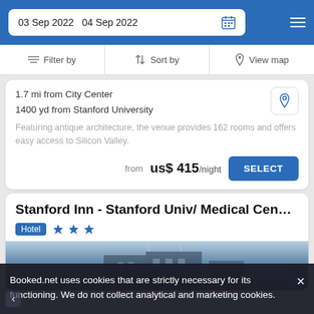03 Sep 2022  04 Sep 2022
Filter by  Sort by  View map
1.7 mi from City Center
1400 yd from Stanford University
Featuring antique architecture, the venue provides 162 rooms and offers easy access to Silicon Valley.
from us$ 415/night  SELECT
Stanford Inn - Stanford Univ/ Medical Cen…
Hotel ★★★
[Figure (photo): Exterior photo of Stanford Inn hotel building against blue sky]
Booked.net uses cookies that are strictly necessary for its functioning. We do not collect analytical and marketing cookies.